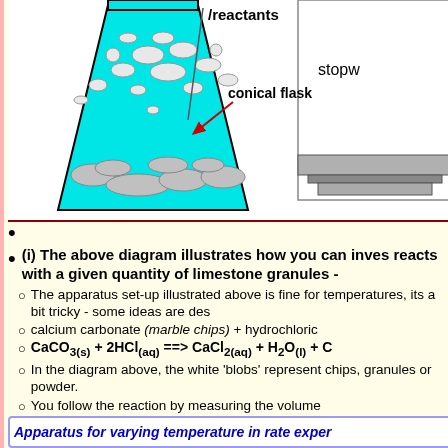[Figure (illustration): Diagram of a conical flask filled with cyan liquid containing white and gray oval blobs (representing marble chips/limestone granules and hydrochloric acid). Labels point to 'reactants' at the top and 'conical flask' with a red arrow. To the right, a partial view of apparatus with 'stopw' visible (stopwatch). The flask sits on a gray platform.]
(i) The above diagram illustrates how you can invest reacts with a given quantity of limestone granules -
The apparatus set-up illustrated above is fine for temperatures, its a bit tricky - some ideas are des
calcium carbonate (marble chips) + hydrochloric
CaCO3(s) + 2HCl(aq) ===> CaCl2(aq) + H2O(l) + C
In the diagram above, the white 'blobs' represent chips, granules or powder.
You follow the reaction by measuring the volume
You must keep the following variables constant - size, the concentration of the hydrochloric acid ar the time and volume of carbon dioxide gas forme
Gentle stirring (swirling action) is important, if you falsely slow rate of reaction.
So, the only factor you should vary in the tem
You repeat the experiment at different temperatur between hydrochloric acid and limestone/marble
Apparatus for varying temperature in rate exper